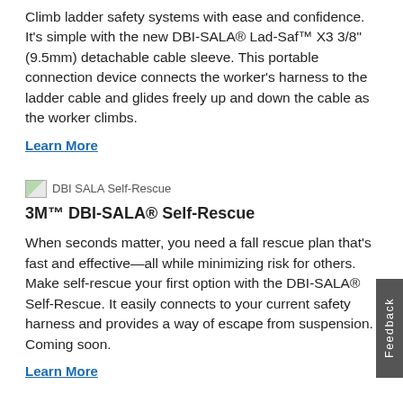Climb ladder safety systems with ease and confidence. It’s simple with the new DBI-SALA® Lad-Saf™ X3 3/8" (9.5mm) detachable cable sleeve. This portable connection device connects the worker’s harness to the ladder cable and glides freely up and down the cable as the worker climbs.
Learn More
[Figure (photo): DBI SALA Self-Rescue product thumbnail image]
3M™ DBI-SALA® Self-Rescue
When seconds matter, you need a fall rescue plan that’s fast and effective—all while minimizing risk for others. Make self-rescue your first option with the DBI-SALA® Self-Rescue. It easily connects to your current safety harness and provides a way of escape from suspension. Coming soon.
Learn More